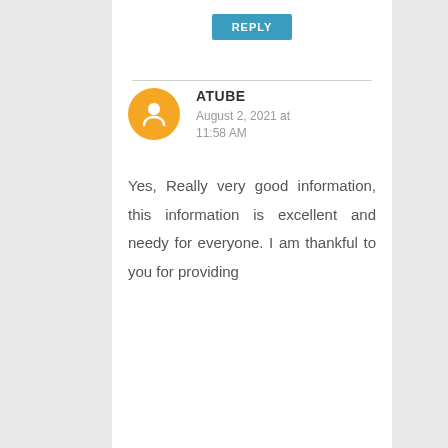REPLY
ATUBE
August 2, 2021 at 11:58 AM
Yes, Really very good information, this information is excellent and needy for everyone. I am thankful to you for providing